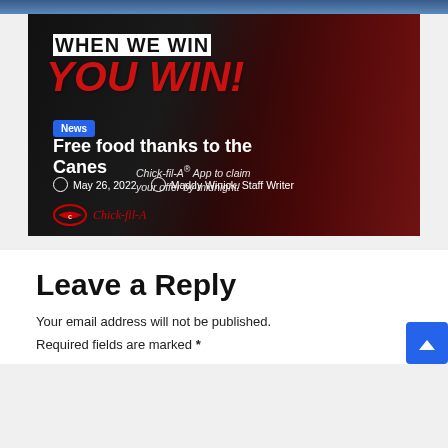[Figure (photo): Hockey players in red Carolina Hurricanes jerseys celebrating together on ice, with text overlay 'WHEN WE WIN YOU WIN!' and Chick-fil-A App promotional text]
News
Free food thanks to the Canes
Chick-fil-A® App to claim your offer by midnight!
May 26, 2022   Maddy Winick, Staff Writer
Leave a Reply
Your email address will not be published.
Required fields are marked *